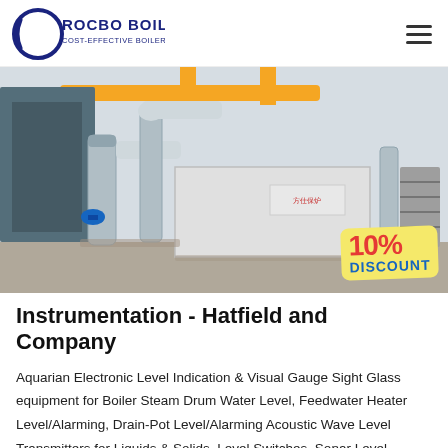ROCBO BOILER - COST-EFFECTIVE BOILER SUPPLIER
[Figure (photo): Industrial boiler equipment in a factory setting with pipes and ducting, showing a large silver/grey boiler unit with yellow piping overhead. A '10% DISCOUNT' badge is overlaid on the bottom right.]
Instrumentation - Hatfield and Company
Aquarian Electronic Level Indication & Visual Gauge Sight Glass equipment for Boiler Steam Drum Water Level, Feedwater Heater Level/Alarming, Drain-Pot Level/Alarming Acoustic Wave Level Transmitters for Liquids & Solids, Level Switches, Sonar Level